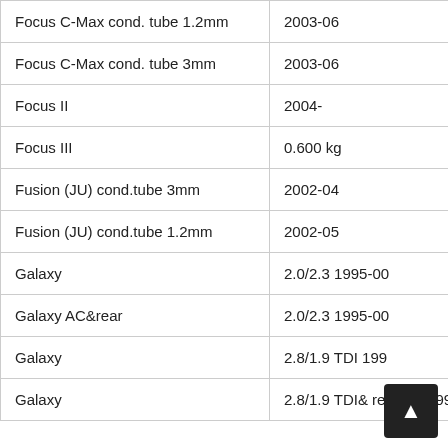| Model | Info |
| --- | --- |
| Focus C-Max cond. tube 1.2mm | 2003-06 |
| Focus C-Max cond. tube 3mm | 2003-06 |
| Focus II | 2004- |
| Focus III | 0.600 kg |
| Fusion (JU) cond.tube 3mm | 2002-04 |
| Fusion (JU) cond.tube 1.2mm | 2002-05 |
| Galaxy | 2.0/2.3 1995-00 |
| Galaxy AC&rear | 2.0/2.3 1995-00 |
| Galaxy | 2.8/1.9 TDI 199… |
| Galaxy | 2.8/1.9 TDI& rear AC 199-00 |